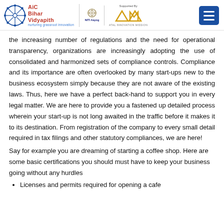AiC Bihar Vidyapith — nurturing grassroot innovation | NITI Aayog | Supported By AIM ATAL INNOVATION MISSION
the increasing number of regulations and the need for operational transparency, organizations are increasingly adopting the use of consolidated and harmonized sets of compliance controls. Compliance and its importance are often overlooked by many start-ups new to the business ecosystem simply because they are not aware of the existing laws. Thus, here we have a perfect back-hand to support you in every legal matter. We are here to provide you a fastened up detailed process wherein your start-up is not long awaited in the traffic before it makes it to its destination. From registration of the company to every small detail required in tax filings and other statutory compliances, we are here!
Say for example you are dreaming of starting a coffee shop. Here are some basic certifications you should must have to keep your business going without any hurdles
Licenses and permits required for opening a cafe